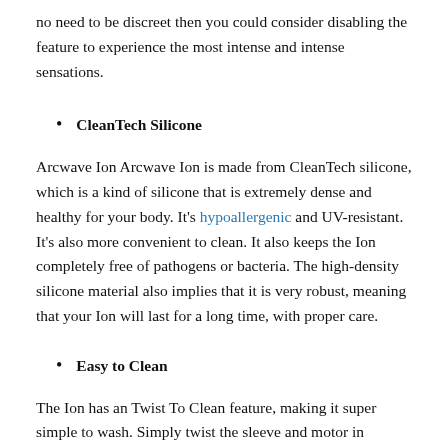no need to be discreet then you could consider disabling the feature to experience the most intense and intense sensations.
CleanTech Silicone
Arcwave Ion Arcwave Ion is made from CleanTech silicone, which is a kind of silicone that is extremely dense and healthy for your body. It's hypoallergenic and UV-resistant. It's also more convenient to clean. It also keeps the Ion completely free of pathogens or bacteria. The high-density silicone material also implies that it is very robust, meaning that your Ion will last for a long time, with proper care.
Easy to Clean
The Ion has an Twist To Clean feature, making it super simple to wash. Simply twist the sleeve and motor in various directions at the same time to pull them apart. Rinse each part with warm water and a toy cleaner or normal soap.